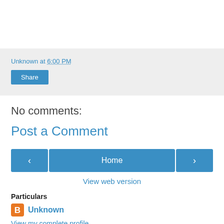Unknown at 6:00 PM
Share
No comments:
Post a Comment
‹
Home
›
View web version
Particulars
Unknown
View my complete profile